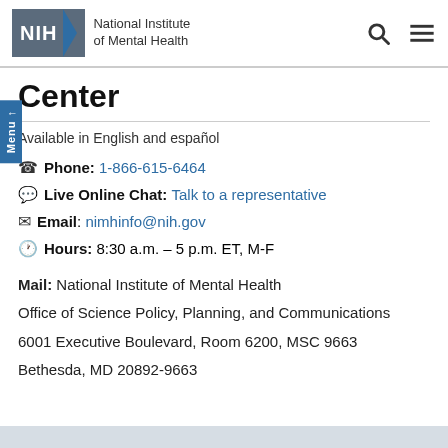[Figure (logo): NIH National Institute of Mental Health logo with search and menu icons]
Center
Available in English and español
Phone: 1-866-615-6464
Live Online Chat: Talk to a representative
Email: nimhinfo@nih.gov
Hours: 8:30 a.m. – 5 p.m. ET, M-F
Mail: National Institute of Mental Health
Office of Science Policy, Planning, and Communications
6001 Executive Boulevard, Room 6200, MSC 9663
Bethesda, MD 20892-9663